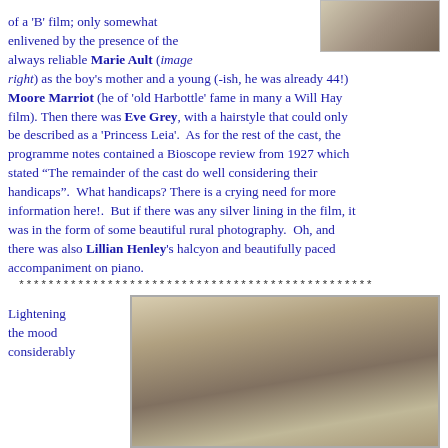[Figure (photo): Black and white photograph of a person (Marie Ault), partially visible in upper right corner of page]
of a 'B' film; only somewhat enlivened by the presence of the always reliable Marie Ault (image right) as the boy's mother and a young (-ish, he was already 44!) Moore Marriot (he of 'old Harbottle' fame in many a Will Hay film). Then there was Eve Grey, with a hairstyle that could only be described as a 'Princess Leia'.  As for the rest of the cast, the programme notes contained a Bioscope review from 1927 which stated "The remainder of the cast do well considering their handicaps".  What handicaps? There is a crying need for more information here!.  But if there was any silver lining in the film, it was in the form of some beautiful rural photography.  Oh, and there was also Lillian Henley's halcyon and beautifully paced accompaniment on piano.
************************************************
Lightening the mood considerably
[Figure (photo): Color photograph showing figures in period costume, partially visible at bottom of page]